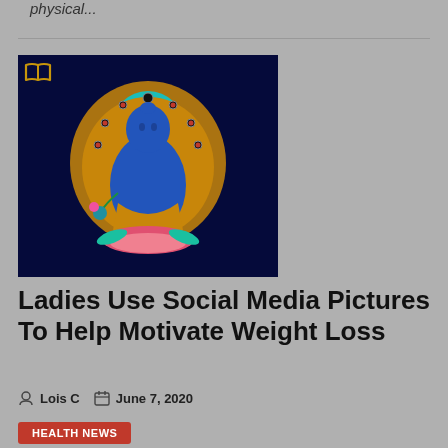physical...
[Figure (photo): Tibetan Buddhist Medicine Buddha painting with blue figure seated in lotus position, gold mandorla, teal halo, against dark navy background. Book/reading icon overlay in top left corner.]
Ladies Use Social Media Pictures To Help Motivate Weight Loss
Lois C   June 7, 2020
HEALTH NEWS